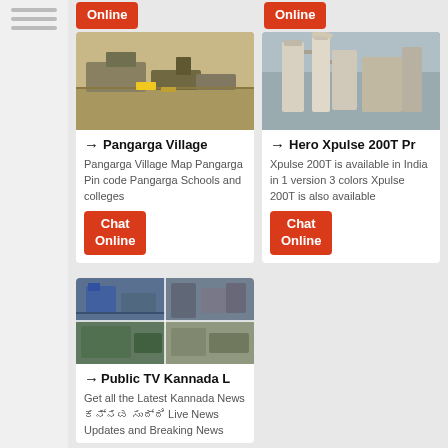[Figure (screenshot): Sidebar with horizontal lines (menu icon)]
Chat Online (button top left)
Chat Online (button top right)
[Figure (photo): Quarry/mining site with equipment and machinery in an open landscape]
→ Pangarga Village
Pangarga Village Map Pangarga Pin code Pangarga Schools and colleges
Chat Online
[Figure (photo): Industrial facility with silos, pipes and towers]
→ Hero Xpulse 200T Pr
Xpulse 200T is available in India in 1 version 3 colors Xpulse 200T is also available
Chat Online
[Figure (photo): Four-panel collage of mining/quarry machinery and equipment]
→ Public TV Kannada L
Get all the Latest Kannada News ಕನ್ನಡ ಸುದ್ದಿ Live News Updates and Breaking News